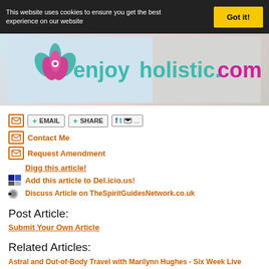This website uses cookies to ensure you get the best experience on our website
[Figure (logo): enjoyholistic.com logo with lotus flower graphic on banner background]
EMAIL
SHARE
Contact Me
Request Amendment
Digg this article!
Add this article to Del.icio.us!
Discuss Article on TheSpiritGuidesNetwork.co.uk
Post Article:
Submit Your Own Article
Related Articles:
Astral and Out-of-Body Travel with Marilynn Hughes - Six Week Live Course
Interviews with top spiritual pioneers - Listen here now!
My 20-Year Thyroid Problem Has Been Eradicated